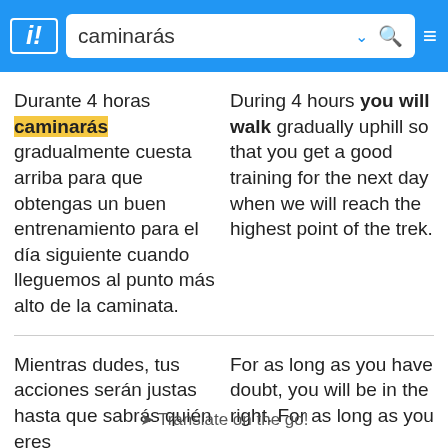caminarás
Durante 4 horas caminarás gradualmente cuesta arriba para que obtengas un buen entrenamiento para el día siguiente cuando lleguemos al punto más alto de la caminata.
During 4 hours you will walk gradually uphill so that you get a good training for the next day when we will reach the highest point of the trek.
Mientras dudes, tus acciones serán justas hasta que sabrás quién eres
For as long as you have doubt, you will be in the right. For as long as you
✈ Translate on the go!